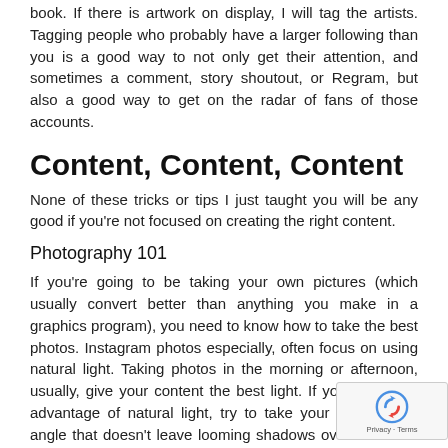book. If there is artwork on display, I will tag the artists. Tagging people who probably have a larger following than you is a good way to not only get their attention, and sometimes a comment, story shoutout, or Regram, but also a good way to get on the radar of fans of those accounts.
Content, Content, Content
None of these tricks or tips I just taught you will be any good if you're not focused on creating the right content.
Photography 101
If you're going to be taking your own pictures (which usually convert better than anything you make in a graphics program), you need to know how to take the best photos. Instagram photos especially, often focus on using natural light. Taking photos in the morning or afternoon, usually, give your content the best light. If you can't take advantage of natural light, try to take your photo in an angle that doesn't leave looming shadows over the items you're photographing.